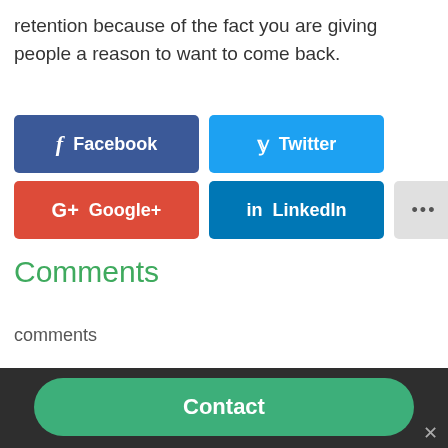retention because of the fact you are giving people a reason to want to come back.
[Figure (screenshot): Social share buttons: Facebook (dark blue), Twitter (blue), Google+ (red), LinkedIn (blue), and a more (...) button (gray)]
Comments
comments
[Figure (screenshot): Contact button bar at the bottom with a green rounded 'Contact' button on a dark background, and an X close icon]